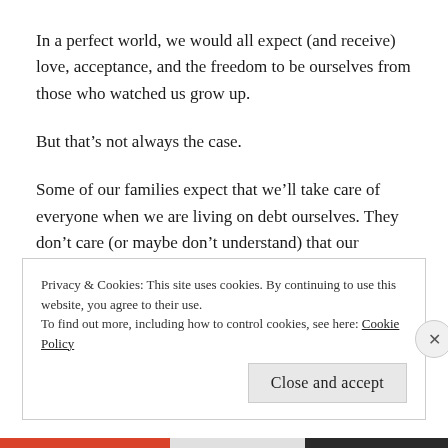In a perfect world, we would all expect (and receive) love, acceptance, and the freedom to be ourselves from those who watched us grow up.
But that’s not always the case.
Some of our families expect that we’ll take care of everyone when we are living on debt ourselves. They don’t care (or maybe don’t understand) that our assistantships only offer a small stipend for (barely) month to month living.
Privacy & Cookies: This site uses cookies. By continuing to use this website, you agree to their use.
To find out more, including how to control cookies, see here: Cookie Policy
Close and accept